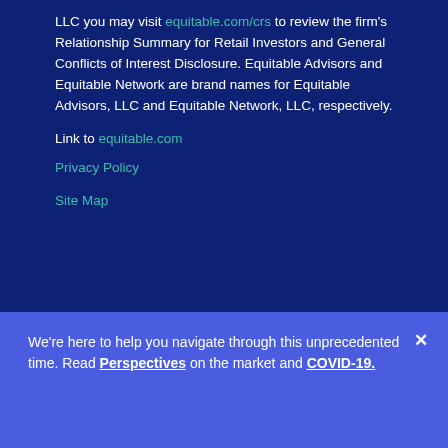LLC you may visit equitable.com/crs to review the firm's Relationship Summary for Retail Investors and General Conflicts of Interest Disclosure. Equitable Advisors and Equitable Network are brand names for Equitable Advisors, LLC and Equitable Network, LLC, respectively.
Link to equitable.com
Privacy Policy
Site Map
We're here to help you navigate through this unprecedented time. Read Perspectives on the market and COVID-19.